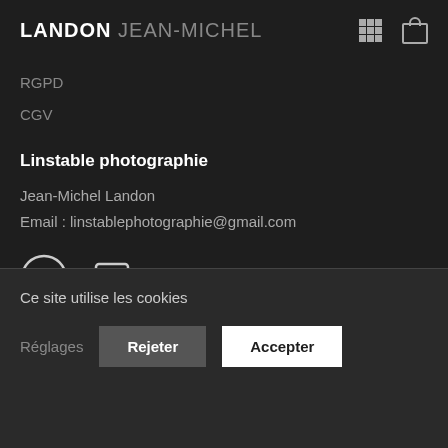LANDON JEAN-MICHEL
RGPD
CGV
Linstable photographie
Jean-Michel Landon
Email : linstablephotographie@gmail.com
[Figure (other): Social media icons: Instagram circle icon and speech bubble icon]
Ce site utilise les cookies
Réglages   Rejeter   Accepter